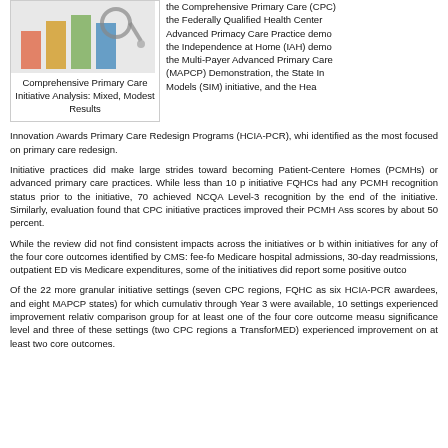[Figure (photo): Image of stethoscope with colorful background suggesting a chart or infographic]
Comprehensive Primary Care Initiative Analysis: Mixed, Modest Results
the Comprehensive Primary Care (CPC) the Federally Qualified Health Center Advanced Primacy Care Practice demo the Independence at Home (IAH) demo the Multi-Payer Advanced Primary Care (MAPCP) Demonstration, the State Innovation Models (SIM) initiative, and the Health Innovation Awards Primary Care Redesign Programs (HCIA-PCR), which were identified as the most focused on primary care redesign.
Initiative practices did make large strides toward becoming Patient-Centered Medical Homes (PCMHs) or advanced primary care practices. While less than 10 percent of initiative FQHCs had any PCMH recognition status prior to the initiative, 70 percent had achieved NCQA Level-3 recognition by the end of the initiative. Similarly, the CPC evaluation found that CPC initiative practices improved their PCMH Assessment scores by about 50 percent.
While the review did not find consistent impacts across the initiatives or benchmarks within initiatives for any of the four core outcomes identified by CMS: fee-for-service Medicare hospital admissions, 30-day readmissions, outpatient ED visits, and Medicare expenditures, some of the initiatives did report some positive outcomes.
Of the 22 more granular initiative settings (seven CPC regions, FQHC awardees, six HCIA-PCR awardees, and eight MAPCP states) for which cumulative data through Year 3 were available, 10 settings experienced improvement relative to a comparison group for at least one of the four core outcome measures at a significance level and three of these settings (two CPC regions and TransforMED) experienced improvement on at least two core outcomes.